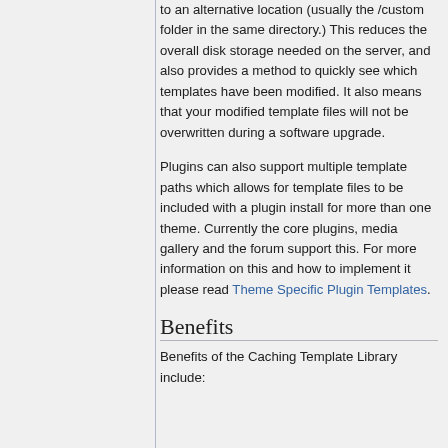to an alternative location (usually the /custom folder in the same directory.) This reduces the overall disk storage needed on the server, and also provides a method to quickly see which templates have been modified. It also means that your modified template files will not be overwritten during a software upgrade.
Plugins can also support multiple template paths which allows for template files to be included with a plugin install for more than one theme. Currently the core plugins, media gallery and the forum support this. For more information on this and how to implement it please read Theme Specific Plugin Templates.
Benefits
Benefits of the Caching Template Library include: